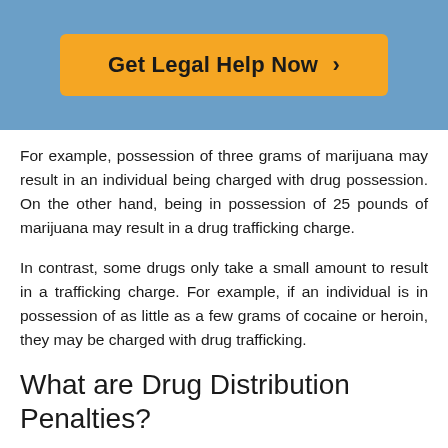[Figure (other): Call-to-action button with orange background reading 'Get Legal Help Now ›' on a blue background header]
For example, possession of three grams of marijuana may result in an individual being charged with drug possession. On the other hand, being in possession of 25 pounds of marijuana may result in a drug trafficking charge.
In contrast, some drugs only take a small amount to result in a trafficking charge. For example, if an individual is in possession of as little as a few grams of cocaine or heroin, they may be charged with drug trafficking.
What are Drug Distribution Penalties?
The distribution of drugs is typically a felony. However, this may vary by jurisdiction.